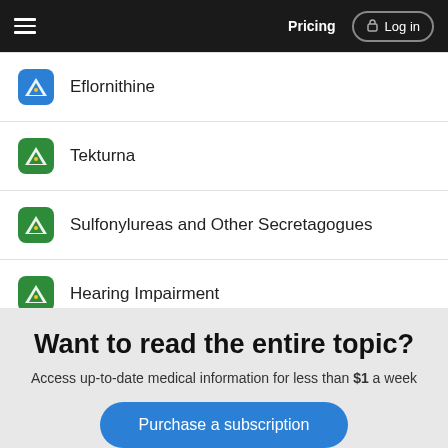Pricing  Log in
Eflornithine
Tekturna
Sulfonylureas and Other Secretagogues
Hearing Impairment
more...
Want to read the entire topic?
Access up-to-date medical information for less than $1 a week
Purchase a subscription
I'm already a subscriber
Browse sample topics